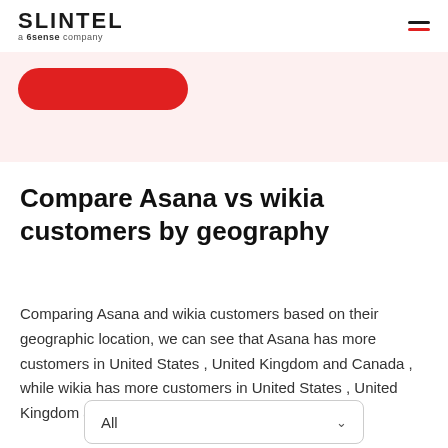SLINTEL a 6sense company
Compare Asana vs wikia customers by geography
Comparing Asana and wikia customers based on their geographic location, we can see that Asana has more customers in United States , United Kingdom and Canada , while wikia has more customers in United States , United Kingdom and Canada .